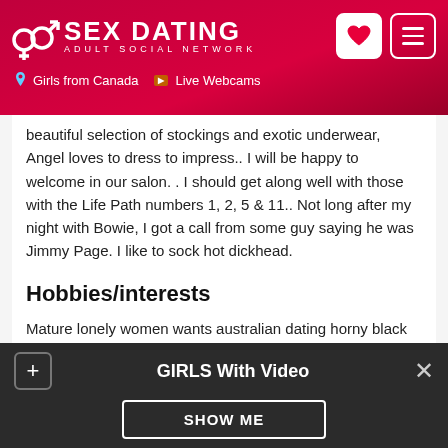SEX DATING ADULT SOCIAL NETWORK | Girls from Canada | Live Webcams
beautiful selection of stockings and exotic underwear, Angel loves to dress to impress.. I will be happy to welcome in our salon. . I should get along well with those with the Life Path numbers 1, 2, 5 & 11.. Not long after my night with Bowie, I got a call from some guy saying he was Jimmy Page. I like to sock hot dickhead.
Hobbies/interests
Mature lonely women wants australian dating horny black girls wanting teen relationships
Sexual Fantasies:
GIRLS With Video  SHOW ME